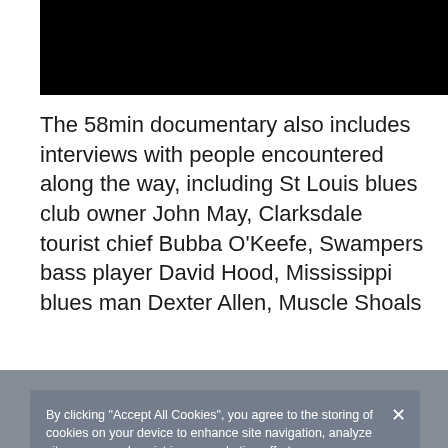[Figure (photo): Black rectangular image at the top of the page]
The 58min documentary also includes interviews with people encountered along the way, including St Louis blues club owner John May, Clarksdale tourist chief Bubba O'Keefe, Swampers bass player David Hood, Mississippi blues man Dexter Allen, Muscle Shoals
[Figure (screenshot): Cookie consent banner overlay with grey background. Contains text: 'By clicking "Accept All Cookies", you agree to the storing of cookies on your device to enhance site navigation, analyze site usage, and assist in our marketing efforts.' Three buttons: 'Reject All' (dark grey), 'Accept All Cookies' (green), 'Cookies Settings' (white).]
For more information about the film and Robin visit